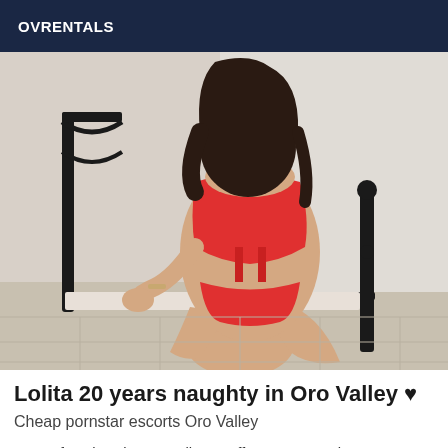OVRENTALS
[Figure (photo): A young woman in a red two-piece outfit posing near a black metal bed frame in a room with light-colored walls and tile floor.]
Lolita 20 years naughty in Oro Valley ♥
Cheap pornstar escorts Oro Valley
I am a few days in Oro Valley to offer you an erotic